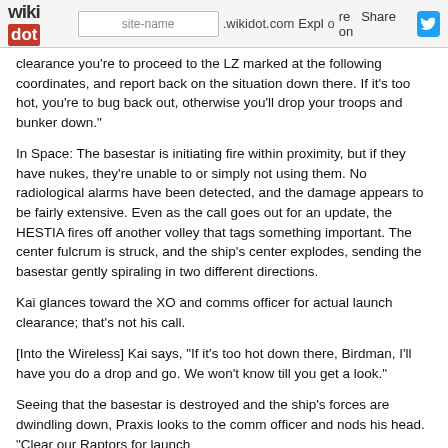wikidot | site-name .wikidot.com | Explore | Share on Twitter
clearance you're to proceed to the LZ marked at the following coordinates, and report back on the situation down there. If it's too hot, you're to bug back out, otherwise you'll drop your troops and bunker down."
In Space: The basestar is initiating fire within proximity, but if they have nukes, they're unable to or simply not using them. No radiological alarms have been detected, and the damage appears to be fairly extensive. Even as the call goes out for an update, the HESTIA fires off another volley that tags something important. The center fulcrum is struck, and the ship's center explodes, sending the basestar gently spiraling in two different directions.
Kai glances toward the XO and comms officer for actual launch clearance; that's not his call.
[Into the Wireless] Kai says, "If it's too hot down there, Birdman, I'll have you do a drop and go. We won't know till you get a look."
Seeing that the basestar is destroyed and the ship's forces are dwindling down, Praxis looks to the comm officer and nods his head. "Clear our Raptors for launch